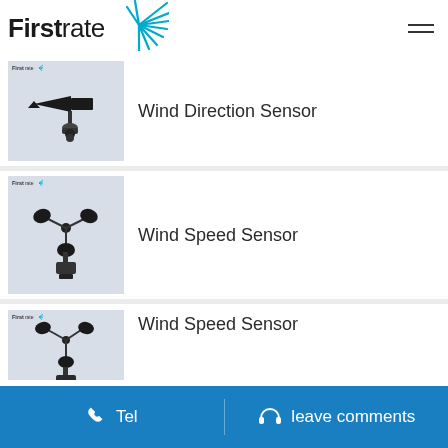[Figure (logo): Firstrate company logo with burst/star graphic in blue]
[Figure (photo): Wind direction sensor (weather vane) product image on grey background with Firstrate logo watermark]
Wind Direction Sensor
[Figure (photo): Wind speed sensor (anemometer with three cups) product image on grey background with Firstrate logo watermark]
Wind Speed Sensor
[Figure (photo): Wind speed sensor variant product image partially visible with Firstrate logo watermark]
Wind Speed Sensor
Tel   leave comments